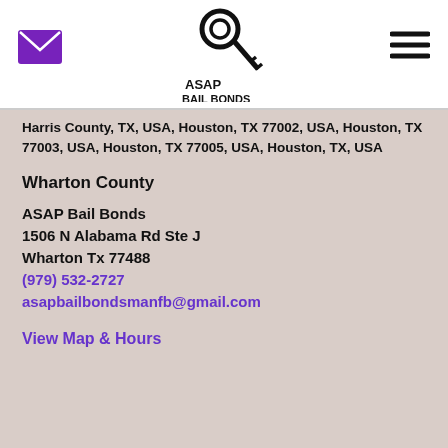[Figure (logo): ASAP Bail Bonds logo with a key graphic and text 'ASAP BAIL BONDS']
Harris County, TX, USA, Houston, TX 77002, USA, Houston, TX 77003, USA, Houston, TX 77005, USA, Houston, TX, USA
Wharton County
ASAP Bail Bonds
1506 N Alabama Rd Ste J
Wharton Tx 77488
(979) 532-2727
asapbailbondsmanfb@gmail.com
View Map & Hours